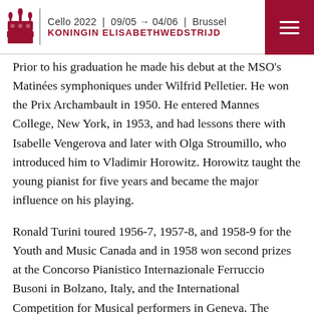Cello 2022 | 09/05 → 04/06 | Brussel — KONINGIN ELISABETHWEDSTRIJD
Prior to his graduation he made his debut at the MSO's Matinées symphoniques under Wilfrid Pelletier. He won the Prix Archambault in 1950. He entered Mannes College, New York, in 1953, and had lessons there with Isabelle Vengerova and later with Olga Stroumillo, who introduced him to Vladimir Horowitz. Horowitz taught the young pianist for five years and became the major influence on his playing.
Ronald Turini toured 1956-7, 1957-8, and 1958-9 for the Youth and Music Canada and in 1958 won second prizes at the Concorso Pianistico Internazionale Ferruccio Busoni in Bolzano, Italy, and the International Competition for Musical performers in Geneva. The following year he gave a series of recitals in Switzerland. After winning second prize at the 1960 Queen Elisabeth International Music Competition, he toured Canada, the province of the …